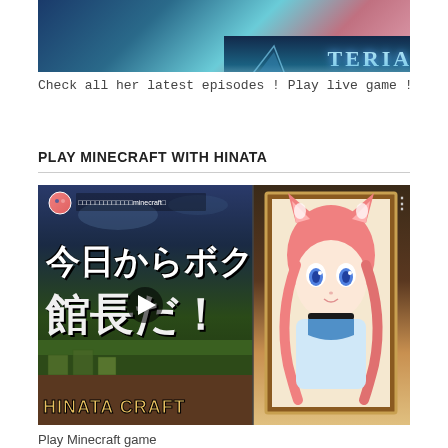[Figure (screenshot): Top portion of an anime game (Teria Saga) banner image showing title text and anime character]
Check all her latest episodes ! Play live game !
PLAY MINECRAFT WITH HINATA
[Figure (screenshot): YouTube video thumbnail for Hinata Craft Minecraft video featuring anime cat-girl character and Japanese text]
Play Minecraft game